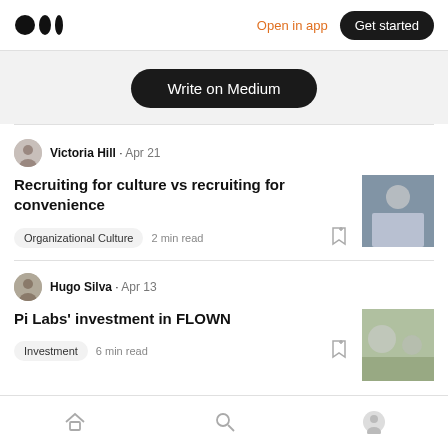Medium logo | Open in app | Get started
Write on Medium
Victoria Hill · Apr 21
Recruiting for culture vs recruiting for convenience
Organizational Culture  2 min read
Hugo Silva · Apr 13
Pi Labs' investment in FLOWN
Investment  6 min read
Home | Search | Profile